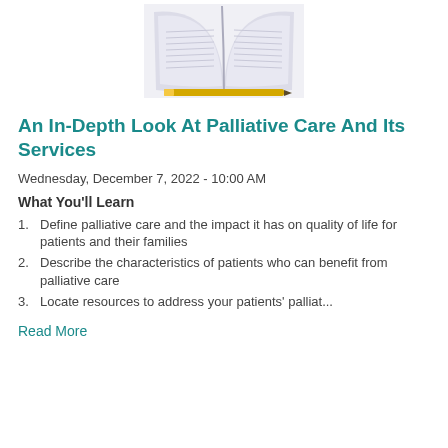[Figure (photo): Open book with a pen/pencil resting in the spine, viewed from above on a white background]
An In-Depth Look At Palliative Care And Its Services
Wednesday, December 7, 2022 - 10:00 AM
What You'll Learn
Define palliative care and the impact it has on quality of life for patients and their families
Describe the characteristics of patients who can benefit from palliative care
Locate resources to address your patients' palliat...
Read More